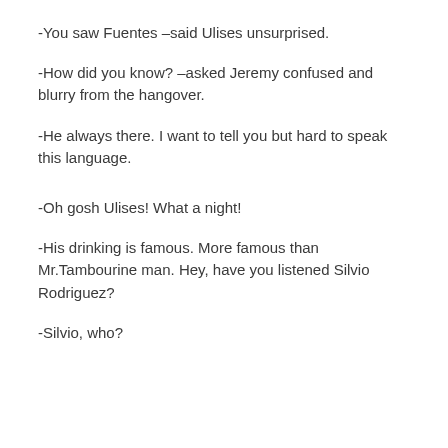-You saw Fuentes –said Ulises unsurprised.
-How did you know? –asked Jeremy confused and blurry from the hangover.
-He always there. I want to tell you but hard to speak this language.
-Oh gosh Ulises! What a night!
-His drinking is famous. More famous than Mr.Tambourine man. Hey, have you listened Silvio Rodriguez?
-Silvio, who?